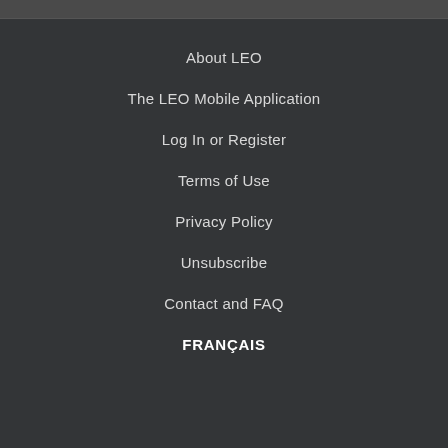About LEO
The LEO Mobile Application
Log In or Register
Terms of Use
Privacy Policy
Unsubscribe
Contact and FAQ
FRANÇAIS